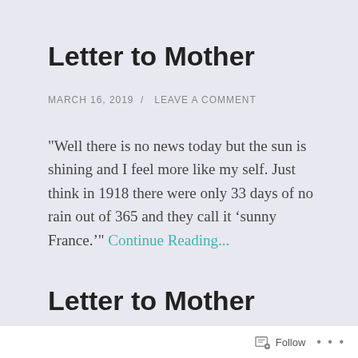Letter to Mother
MARCH 16, 2019  /  LEAVE A COMMENT
"Well there is no news today but the sun is shining and I feel more like my self. Just think in 1918 there were only 33 days of no rain out of 365 and they call it ‘sunny France.’" Continue Reading...
Letter to Mother
Follow  ...